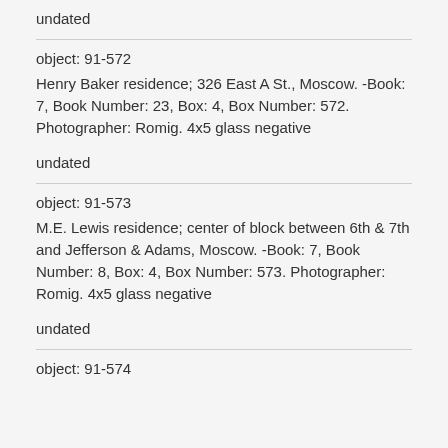undated
object: 91-572
Henry Baker residence; 326 East A St., Moscow. -Book: 7, Book Number: 23, Box: 4, Box Number: 572. Photographer: Romig. 4x5 glass negative
undated
object: 91-573
M.E. Lewis residence; center of block between 6th & 7th and Jefferson & Adams, Moscow. -Book: 7, Book Number: 8, Box: 4, Box Number: 573. Photographer: Romig. 4x5 glass negative
undated
object: 91-574